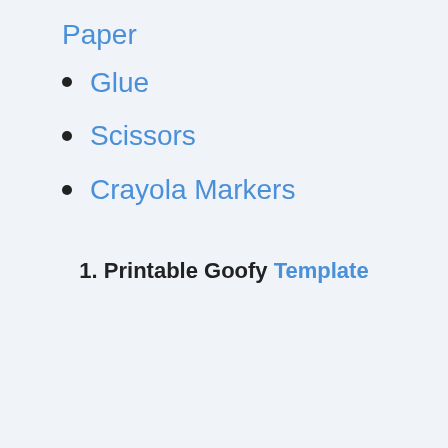Paper
Glue
Scissors
Crayola Markers
1. Printable Goofy Template